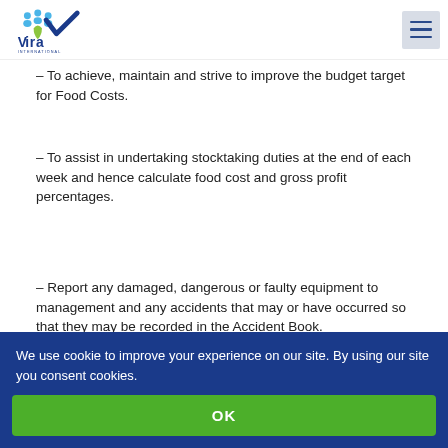Vira International
– To achieve, maintain and strive to improve the budget target for Food Costs.
– To assist in undertaking stocktaking duties at the end of each week and hence calculate food cost and gross profit percentages.
– Report any damaged, dangerous or faulty equipment to management and any accidents that may or have occurred so that they may be recorded in the Accident Book.
– To ensure the proper use and maintenance of equipment
We use cookie to improve your experience on our site. By using our site you consent cookies.
OK